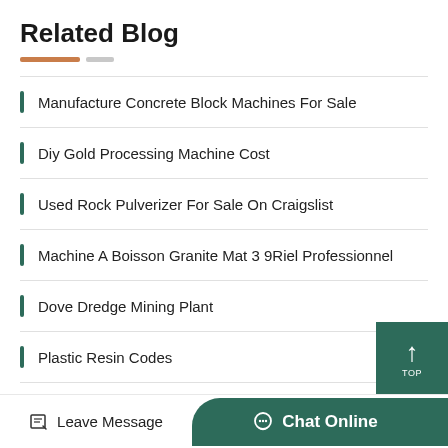Related Blog
Manufacture Concrete Block Machines For Sale
Diy Gold Processing Machine Cost
Used Rock Pulverizer For Sale On Craigslist
Machine A Boisson Granite Mat 3 9Riel Professionnel
Dove Dredge Mining Plant
Plastic Resin Codes
Limestone In Western Pennsylvania
Leave Message  Chat Online